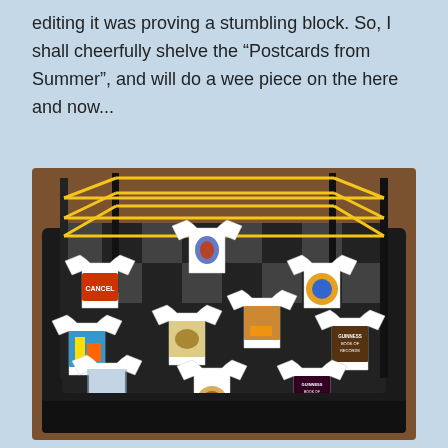editing it was proving a stumbling block. So, I shall cheerfully shelve the “Postcards from Summer”, and will do a wee piece on the here and now...
[Figure (photo): A cake decorated to look like a wrestling ring, with a black and white checkered surface, yellow ropes on black corner posts, and multiple white fondant t-shirt shapes each bearing small printed images.]